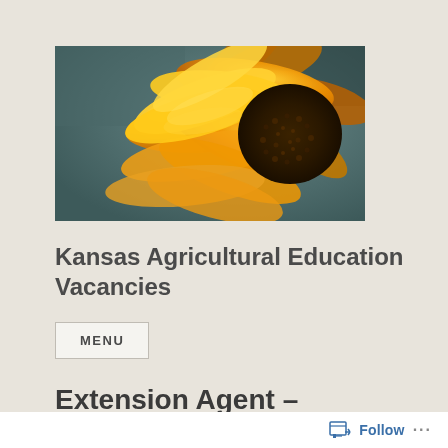[Figure (photo): Close-up photograph of a sunflower with bright orange-yellow petals and dark center, against a muted teal/grey background]
Kansas Agricultural Education Vacancies
MENU
Extension Agent –
Follow ...